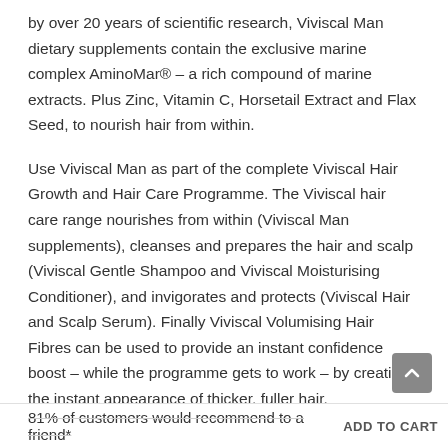by over 20 years of scientific research, Viviscal Man dietary supplements contain the exclusive marine complex AminoMar® – a rich compound of marine extracts. Plus Zinc, Vitamin C, Horsetail Extract and Flax Seed, to nourish hair from within.
Use Viviscal Man as part of the complete Viviscal Hair Growth and Hair Care Programme. The Viviscal hair care range nourishes from within (Viviscal Man supplements), cleanses and prepares the hair and scalp (Viviscal Gentle Shampoo and Viviscal Moisturising Conditioner), and invigorates and protects (Viviscal Hair and Scalp Serum). Finally Viviscal Volumising Hair Fibres can be used to provide an instant confidence boost – while the programme gets to work – by creating the instant appearance of thicker, fuller hair.
Why Viviscal Man?
81% of customers would recommend to a friend*